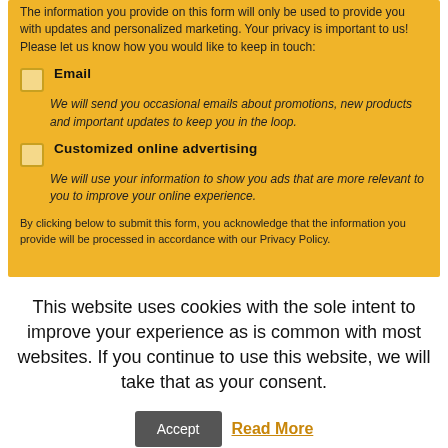The information you provide on this form will only be used to provide you with updates and personalized marketing. Your privacy is important to us! Please let us know how you would like to keep in touch:
Email – We will send you occasional emails about promotions, new products and important updates to keep you in the loop.
Customized online advertising – We will use your information to show you ads that are more relevant to you to improve your online experience.
By clicking below to submit this form, you acknowledge that the information you provide will be processed in accordance with our Privacy Policy.
This website uses cookies with the sole intent to improve your experience as is common with most websites. If you continue to use this website, we will take that as your consent.
Accept | Read More